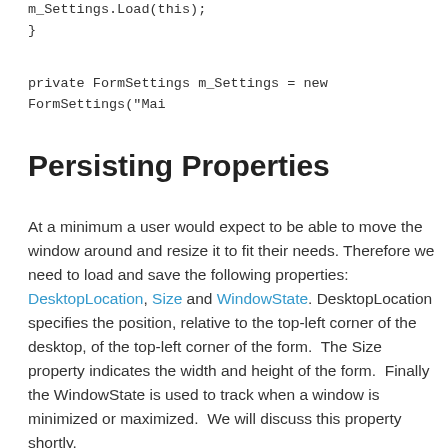m_Settings.Load(this);
}
private FormSettings m_Settings = new FormSettings("Mai
Persisting Properties
At a minimum a user would expect to be able to move the window around and resize it to fit their needs. Therefore we need to load and save the following properties: DesktopLocation, Size and WindowState. DesktopLocation specifies the position, relative to the top-left corner of the desktop, of the top-left corner of the form.  The Size property indicates the width and height of the form.  Finally the WindowState is used to track when a window is minimized or maximized.  We will discuss this property shortly.